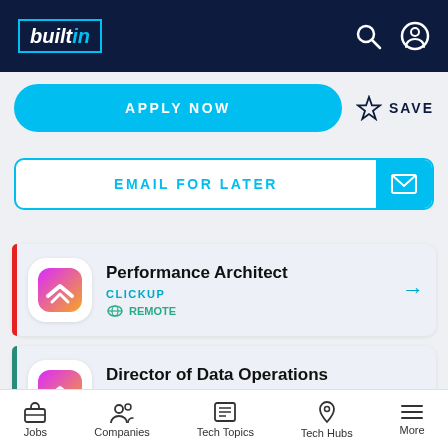builtin
APPLY NOW
SAVE
EMAIL FOR LATER
Performance Architect
CLICKUP
REMOTE
Director of Data Operations
CLICKUP
REMOTE
Jobs  Companies  Tech Topics  Tech Hubs  More